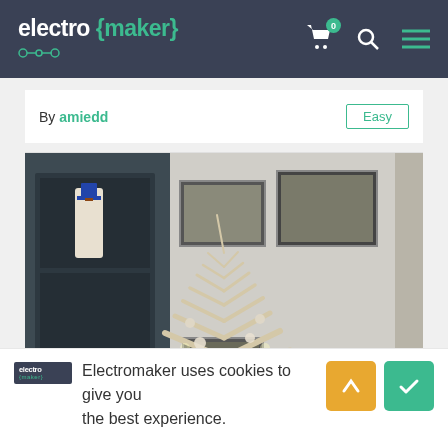electro {maker}
By amiedd
Easy
[Figure (photo): Photo of a white/beige Christmas tree decorated with various ornaments and lights, in a room with a nutcracker figure and framed wall art]
Electromaker uses cookies to give you the best experience.